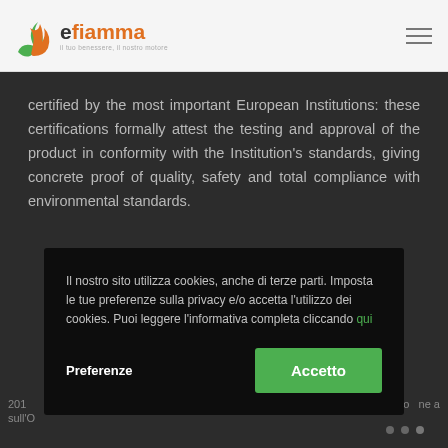efiamma
certified by the most important European Institutions: these certifications formally attest the testing and approval of the product in conformity with the Institution's standards, giving concrete proof of quality, safety and total compliance with environmental standards.
Il nostro sito utilizza cookies, anche di terze parti. Imposta le tue preferenze sulla privacy e/o accetta l'utilizzo dei cookies. Puoi leggere l'informativa completa cliccando qui
Preferenze
Accetto